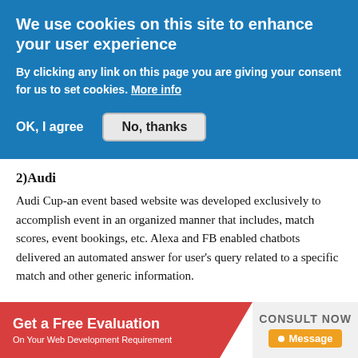We use cookies on this site to enhance your user experience
By clicking any link on this page you are giving your consent for us to set cookies. More info
[Figure (infographic): Cookie consent banner with OK I agree button and No thanks button on blue background]
2)Audi
Audi Cup-an event based website was developed exclusively to accomplish event in an organized manner that includes, match scores, event bookings, etc. Alexa and FB enabled chatbots delivered an automated answer for user's query related to a specific match and other generic information.
[Figure (infographic): Bottom banner: Get a Free Evaluation On Your Web Development Requirement with CONSULT NOW and Message button]